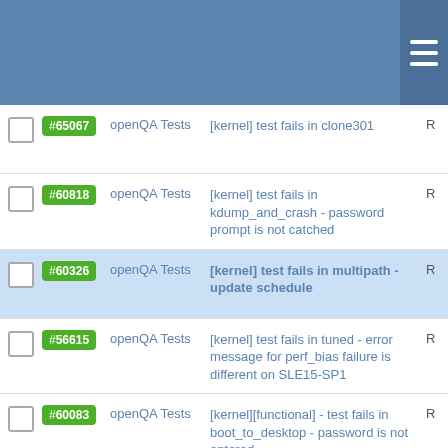[Figure (screenshot): Navigation header bar with hamburger menu icon on the right]
#65067 openQA Tests [kernel] test fails in clone301 R
#60818 openQA Tests [kernel] test fails in kdump_and_crash - password prompt is not catched R
#60326 openQA Tests [kernel] test fails in multipath - update schedule R
#56615 openQA Tests [kernel] test fails in tuned - error message for perf_bias failure is different on SLE15-SP1 R
#60083 openQA Tests [kernel][functional] - test fails in boot_to_desktop - password is not entered R